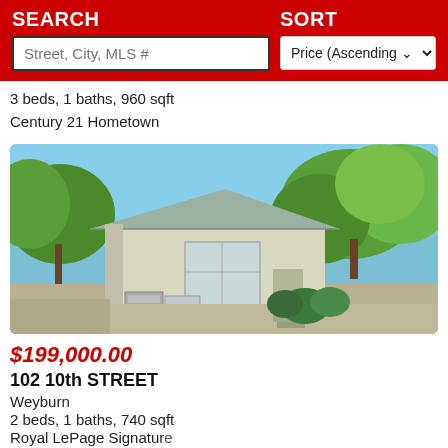SEARCH   SORT
3 beds, 1 baths, 960 sqft
Century 21 Hometown
[Figure (photo): Exterior photo of a small bungalow-style house with white/beige stucco walls, a metal roof, surrounded by large green trees, with gravel landscaping and an AC unit visible]
$199,000.00
102 10th STREET
Weyburn
2 beds, 1 baths, 740 sqft
Royal LePage Signature